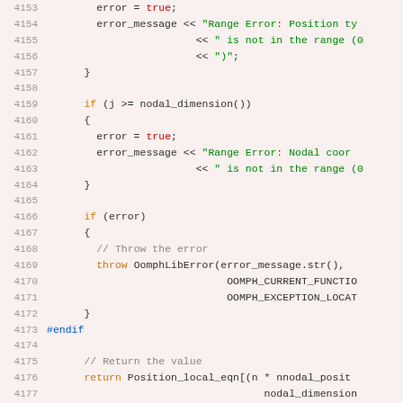[Figure (screenshot): Source code listing lines 4153-4178 of a C++ file showing range error checking and return statement, with syntax highlighting. Line numbers in gray on left, keywords in orange/red/blue, string literals in green, comments in gray.]